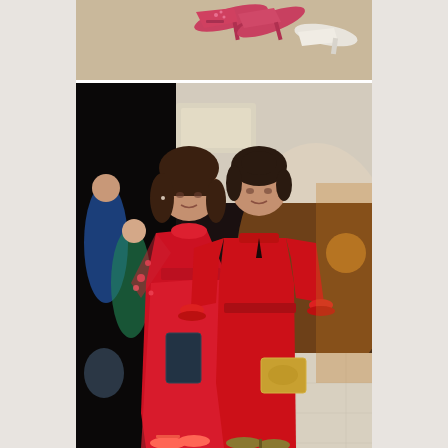[Figure (photo): Top portion: overhead/flat-lay photo showing red/pink pointed-toe heels and white shoes on a textured beige surface.]
[Figure (photo): Two women posing together at an indoor/outdoor event, both wearing red dresses. The woman on the left wears a sheer red gown with floral embroidery on the sleeves and holds a dark clutch; she has dark hair with bangs. The woman on the right wears a solid red midi dress with long sleeves and ruffle cuffs, holding a gold clutch; she has dark hair pulled back. Background shows other event guests and warm ambient lighting.]